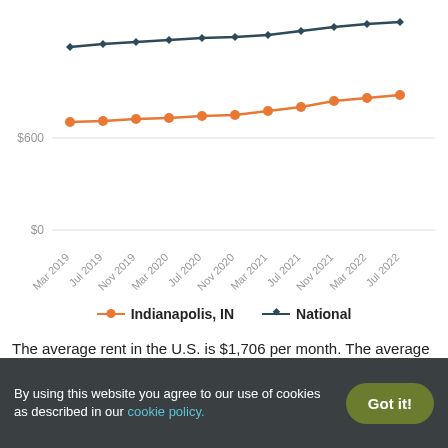[Figure (line-chart): Average rent over time]
The average rent in the U.S. is $1,706 per month. The average rent in Indianapolis, IN is $1,108 per month.
Check out the average rent prices in Indianapolis by neighborhood.
By using this website you agree to our use of cookies as described in our cookie policy.